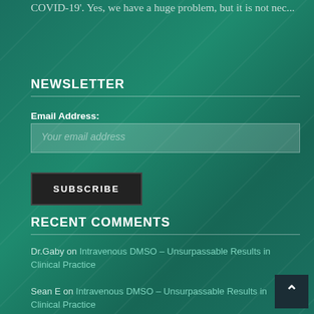COVID-19'. Yes, we have a huge problem, but it is not nec...
NEWSLETTER
Email Address:
Your email address
SUBSCRIBE
RECENT COMMENTS
Dr.Gaby on Intravenous DMSO – Unsurpassable Results in Clinical Practice
Sean E on Intravenous DMSO – Unsurpassable Results in Clinical Practice